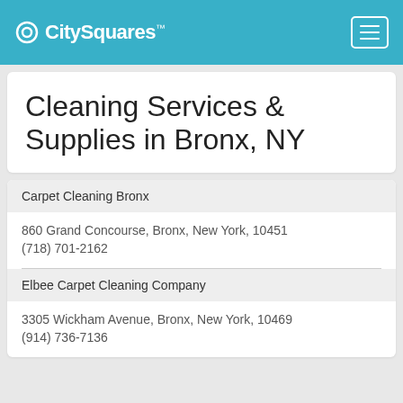CitySquares
Cleaning Services & Supplies in Bronx, NY
Carpet Cleaning Bronx
860 Grand Concourse, Bronx, New York, 10451
(718) 701-2162
Elbee Carpet Cleaning Company
3305 Wickham Avenue, Bronx, New York, 10469
(914) 736-7136